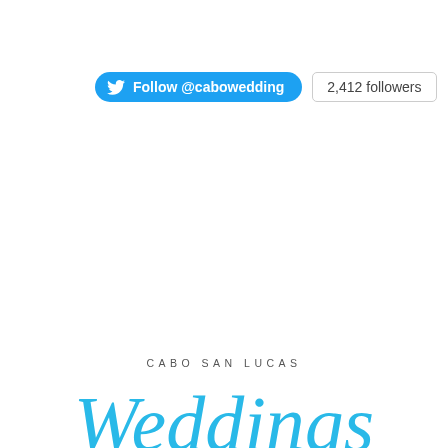[Figure (other): Twitter Follow button for @cabowedding with 2,412 followers badge]
[Figure (logo): Cabo San Lucas Weddings logo with script font in blue]
All Rights Reserved ©1994 - Present • Nocturne Cabo Villas, LLC